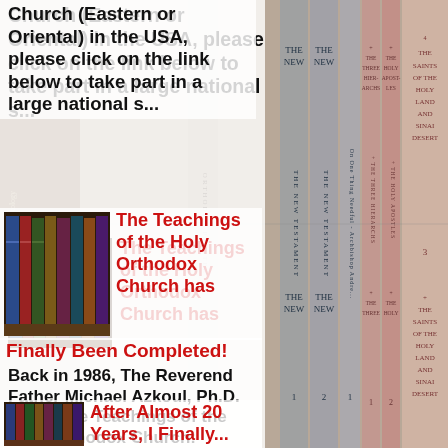[Figure (photo): Background of book spines showing New Testament volumes, Orthodox psalter books, saints of Holy Land and Sinai Desert volumes arranged vertically]
Church (Eastern or Oriental) in the USA, please click on the link below to take part in a large national s...
[Figure (photo): Small image of a collection of books]
The Teachings of the Holy Orthodox Church has Finally Been Completed!
Back in 1986, The Reverend Father Michael Azkoul, Ph.D. wrote The Teachings of the Holy Orthodox Church: Volume 1: God, Creation, Old Israel...
[Figure (photo): Small image of a collection of books]
After Almost 20 Years, I Finally...